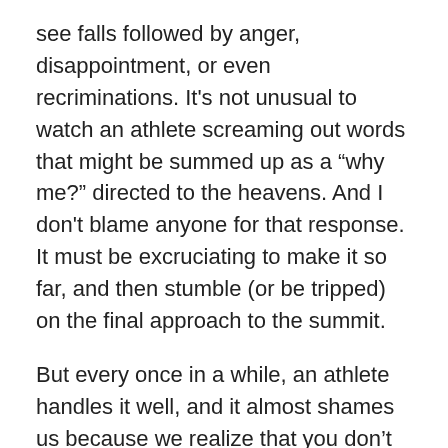see falls followed by anger, disappointment, or even recriminations. It's not unusual to watch an athlete screaming out words that might be summed up as a “why me?” directed to the heavens. And I don't blame anyone for that response. It must be excruciating to make it so far, and then stumble (or be tripped) on the final approach to the summit.
But every once in a while, an athlete handles it well, and it almost shames us because we realize that you don’t have to be an Olympian or an immortal to find yourself in the same situation. And then we have to ask ourselves, would we stop and try to help? Would we recognize that even with failure staring us in the face, there was still something worth fighting for?
Would our lives up to that point — the way we were